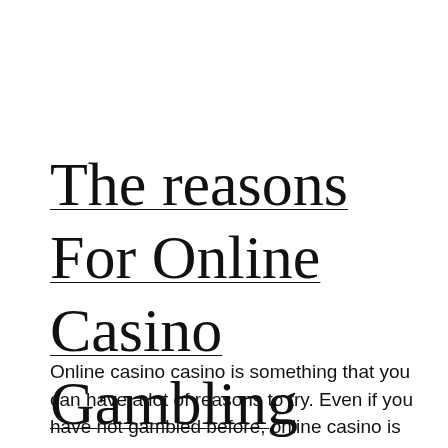The reasons For Online Casino Gambling
Online casino casino is something that you can have a lot of reasons to try. Even if you have not gambled before, online casino is the samsung s8500 into the future. You will be able to learn all the to use and to gamble online. You will find that